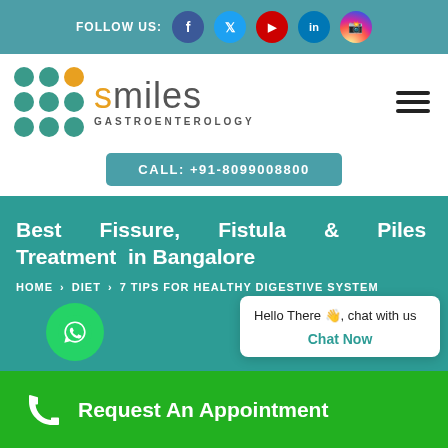FOLLOW US:
[Figure (logo): Smiles Gastroenterology logo with colored dots grid]
CALL: +91-8099008800
Best Fissure, Fistula & Piles Treatment in Bangalore
HOME > DIET > 7 TIPS FOR HEALTHY DIGESTIVE SYSTEM
Hello There 👋, chat with us
Chat Now
Request An Appointment